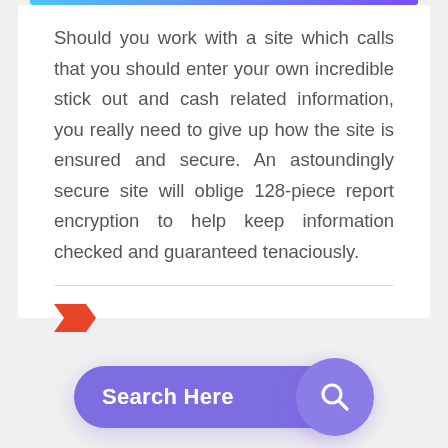Should you work with a site which calls that you should enter your own incredible stick out and cash related information, you really need to give up how the site is ensured and secure. An astoundingly secure site will oblige 128-piece report encryption to help keep information checked and guaranteed tenaciously.
[Figure (other): A red tag/label icon (double chevron arrow pointing right)]
[Figure (other): A purple rounded search bar with 'Search Here' text and a search icon circle on the right]